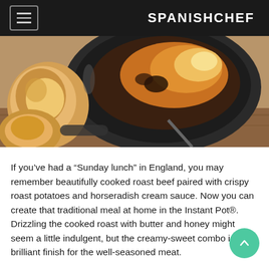SPANISHCHEF
[Figure (photo): Overhead photo of a cast iron skillet with cooked food, alongside pieces of bread, on a wooden surface.]
If you've had a “Sunday lunch” in England, you may remember beautifully cooked roast beef paired with crispy roast potatoes and horseradish cream sauce. Now you can create that traditional meal at home in the Instant Pot®. Drizzling the cooked roast with butter and honey might seem a little indulgent, but the creamy-sweet combo is a brilliant finish for the well-seasoned meat.
Provided by    Alexis Mersel
Yield    4-6 servings